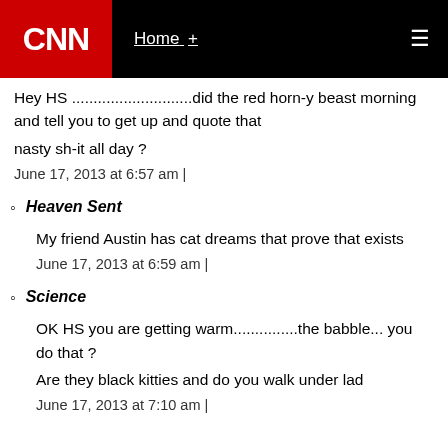CNN | Home +
Hey HS ............................did the red horn-y beast morning and tell you to get up and quote that nasty sh-it all day ?
June 17, 2013 at 6:57 am |
Heaven Sent
My friend Austin has cat dreams that prove that exists
June 17, 2013 at 6:59 am |
Science
OK HS you are getting warm...............the babble... you do that ?
Are they black kitties and do you walk under lad
June 17, 2013 at 7:10 am |